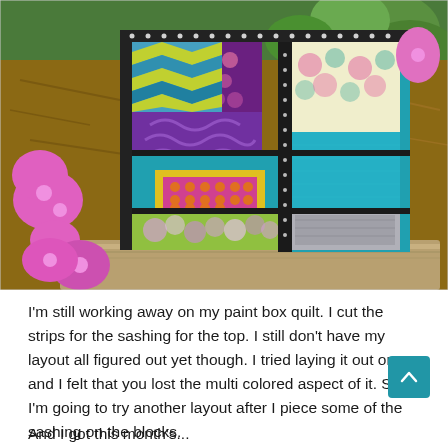[Figure (photo): A colorful patchwork quilt laid outdoors on mulch/straw ground, surrounded by bright pink petunias and green foliage. The quilt features multiple fabric patterns including teal, purple, yellow polka dots, floral prints, chevron stripes, and black-and-white polka dot sashing.]
I'm still working away on my paint box quilt. I cut the strips for the sashing for the top. I still don't have my layout all figured out yet though. I tried laying it out once and I felt that you lost the multi colored aspect of it. So I'm going to try another layout after I piece some of the sashing on the blocks.
And I got this month's...